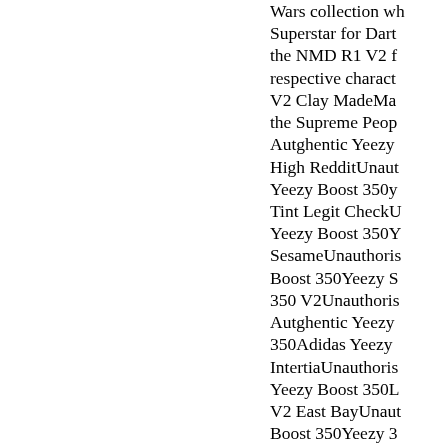Wars collection wh Superstar for Dart the NMD R1 V2 f respective charact V2 Clay MadeMa the Supreme Peop Autghentic Yeezy High RedditUnaut Yeezy Boost 350y Tint Legit CheckU Yeezy Boost 350Y SesameUnauthoris Boost 350Yeezy S 350 V2Unauthoris Autghentic Yeezy 350Adidas Yeezy IntertiaUnauthoris Yeezy Boost 350L V2 East BayUnaut Boost 350Yeezy 3 Boost 750 PriceUn Yeezy Boost 350M The Shadow Leag Autghentic Yeezy v2 48; Yeezy 380